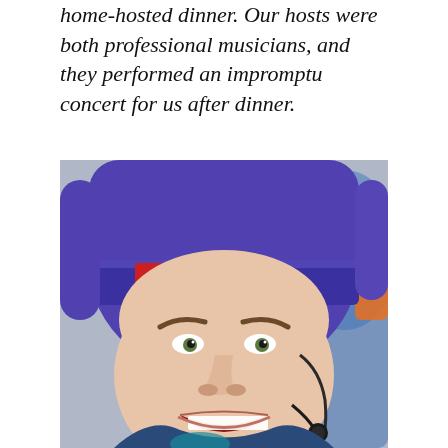home-hosted dinner. Our hosts were both professional musicians, and they performed an impromptu concert for us after dinner.
[Figure (photo): Close-up photo of a young woman wearing a purple '66°North Iceland' knit beanie hat and a headset microphone, with an intense or concentrating expression on her face. A blurred blue figure is visible in the background to the right.]